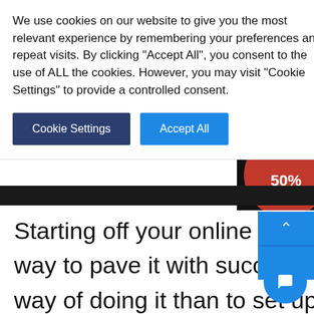We use cookies on our website to give you the most relevant experience by remembering your preferences and repeat visits. By clicking “Accept All”, you consent to the use of ALL the cookies. However, you may visit "Cookie Settings" to provide a controlled consent.
[Figure (screenshot): Cookie consent banner with Cookie Settings and Accept All buttons. Right side shows a dark advertisement panel with a red circle showing 50% OFF.]
Starting off your online journey the proper way to pave it with success and no better way of doing it than to set up a beautiful coming soon page with the Coming Soon & Maintenance Mode WordPress plugin.